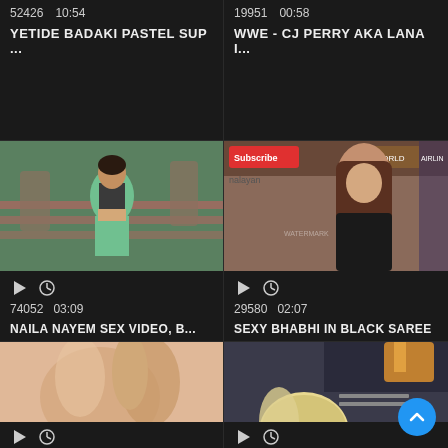52426   10:54
YETIDE BADAKI PASTEL SUP ...
19951   00:58
WWE - CJ PERRY AKA LANA I...
[Figure (screenshot): Thumbnail of a Bollywood dance scene with woman in green saree]
74052   03:09
NAILA NAYEM SEX VIDEO, B...
[Figure (screenshot): Thumbnail of woman in black dress at event with Subscribe/Himalayan/World/Turkish Airlines banners]
29580   02:07
SEXY BHABHI IN BLACK SAREE
[Figure (screenshot): Blurred close-up skin texture thumbnail]
[Figure (screenshot): Thumbnail of blonde woman with dark background]